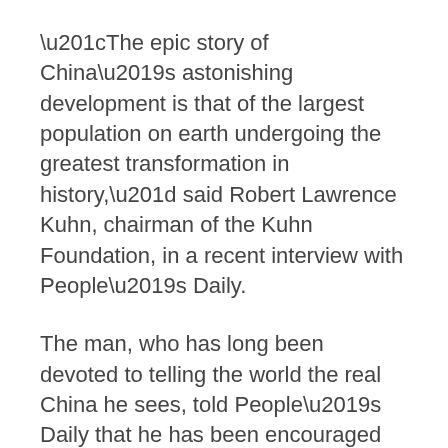“The epic story of China’s astonishing development is that of the largest population on earth undergoing the greatest transformation in history,” said Robert Lawrence Kuhn, chairman of the Kuhn Foundation, in a recent interview with People’s Daily.
The man, who has long been devoted to telling the world the real China he sees, told People’s Daily that he has been encouraged by Chinese President Xi Jinping in terms of telling China’s stories to the world.
It was the new ideas and philosophies, as